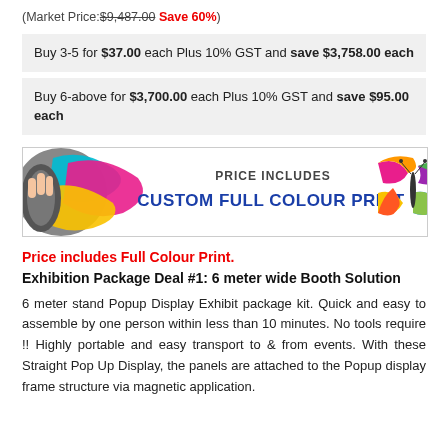(Market Price: $9,487.00 Save 60%)
Buy 3-5 for $37.00 each Plus 10% GST and save $3,758.00 each
Buy 6-above for $3,700.00 each Plus 10% GST and save $95.00 each
[Figure (illustration): Banner image showing colourful ink splashes with text 'PRICE INCLUDES CUSTOM FULL COLOUR PRINT' and a butterfly on the right]
Price includes Full Colour Print.
Exhibition Package Deal #1: 6 meter wide Booth Solution
6 meter stand Popup Display Exhibit package kit. Quick and easy to assemble by one person within less than 10 minutes. No tools require !! Highly portable and easy transport to & from events. With these Straight Pop Up Display, the panels are attached to the Popup display frame structure via magnetic application.